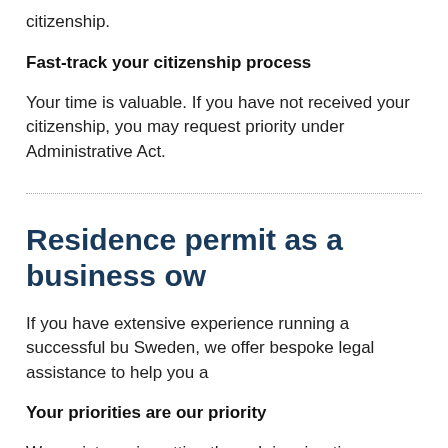citizenship.
Fast-track your citizenship process
Your time is valuable. If you have not received your citizenship, you may request priority under Administrative Act.
Residence permit as a business owner
If you have extensive experience running a successful business and want to move to Sweden, we offer bespoke legal assistance to help you achieve your goals.
Your priorities are our priority
We assist you in getting through immigration processing with ease.
Benefits of living in Sweden
As one of the most developed countries in the world with...